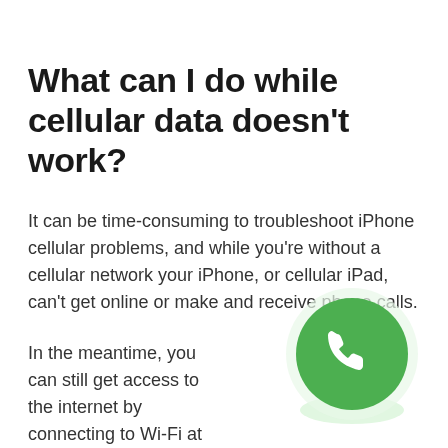What can I do while cellular data doesn't work?
It can be time-consuming to troubleshoot iPhone cellular problems, and while you're without a cellular network your iPhone, or cellular iPad, can't get online or make and receive phone calls.
In the meantime, you can still get access to the internet by connecting to Wi-Fi at home or in many public spaces. Of course, you still can't make or
[Figure (logo): WhatsApp logo: green circle with white phone handset icon and a light green speech bubble shadow]